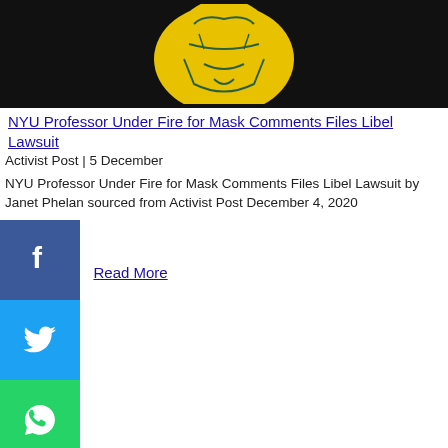[Figure (illustration): Dark background image with yellow illustrated figure/mask artwork]
NYU Professor Under Fire for Mask Comments Files Libel Lawsuit
Activist Post | 5 December
NYU Professor Under Fire for Mask Comments Files Libel Lawsuit by Janet Phelan sourced from Activist Post December 4, 2020
[Figure (infographic): Social media share buttons: Facebook (blue), Twitter (blue), WhatsApp (green), Share (orange)]
Read More
[Figure (photo): Close-up photo of a person wearing a grey knit hat against a dark background]